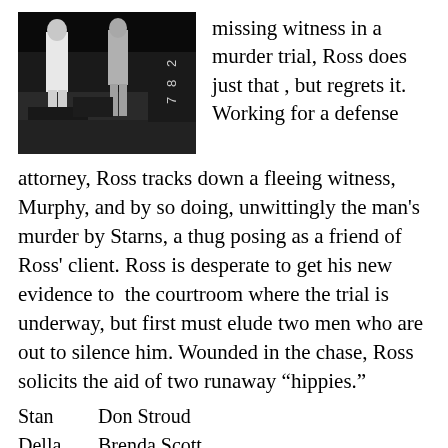[Figure (photo): Black and white photograph of two people standing outdoors near rocky terrain, with handwritten or stamped numbers '28', '87' visible on the right side of the image.]
missing witness in a murder trial, Ross does just that , but regrets it.  Working for a defense attorney, Ross tracks down a fleeing witness, Murphy, and by so doing, unwittingly the man's murder by Starns, a thug posing as a friend of Ross' client.  Ross is desperate to get his new evidence to  the courtroom where the trial is underway, but first must elude two men who are out to silence him.  Wounded in the chase, Ross solicits the aid of two runaway “hippies.”
Stan      Don Stroud
Della     Brenda Scott
Edna      Jody H...